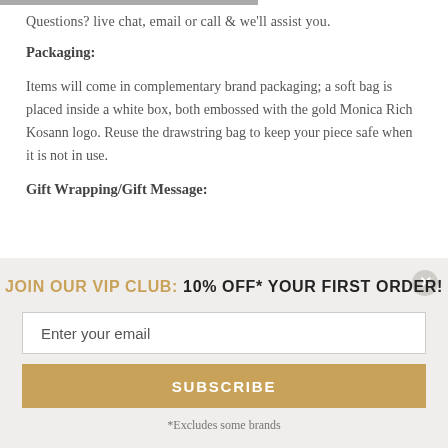Questions? live chat, email or call & we'll assist you.
Packaging:
Items will come in complementary brand packaging; a soft bag is placed inside a white box, both embossed with the gold Monica Rich Kosann logo. Reuse the drawstring bag to keep your piece safe when it is not in use.
Gift Wrapping/Gift Message:
JOIN OUR VIP CLUB: 10% OFF* YOUR FIRST ORDER!
Enter your email
SUBSCRIBE
*Excludes some brands